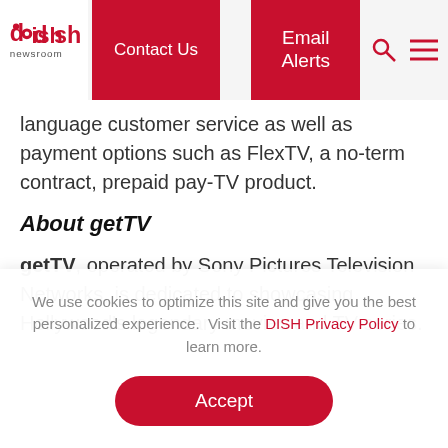DISH Newsroom — Contact Us | Email Alerts
language customer service as well as payment options such as FlexTV, a no-term contract, prepaid pay-TV product.
About getTV
getTV, operated by Sony Pictures Television Networks, is dedicated to showcasing Hollywood's legendary movies and TV series.
We use cookies to optimize this site and give you the best personalized experience.  Visit the DISH Privacy Policy to learn more.